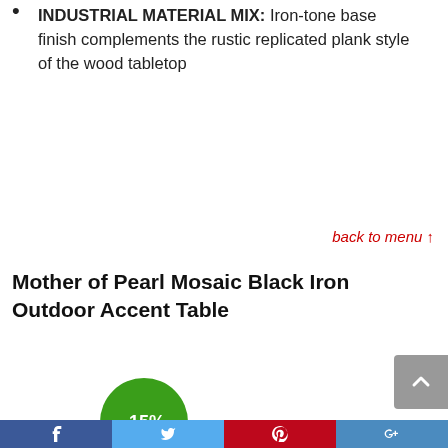INDUSTRIAL MATERIAL MIX: Iron-tone base finish complements the rustic replicated plank style of the wood tabletop
back to menu ↑
Mother of Pearl Mosaic Black Iron Outdoor Accent Table
[Figure (other): Green circular discount badge showing -15%]
[Figure (other): Social sharing bar at bottom with Facebook, Twitter, Pinterest, and another social network icons]